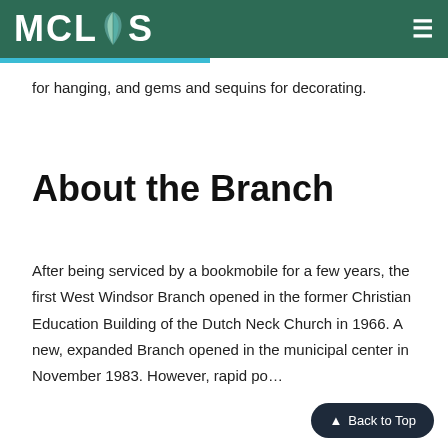MCLS
for hanging, and gems and sequins for decorating.
About the Branch
After being serviced by a bookmobile for a few years, the first West Windsor Branch opened in the former Christian Education Building of the Dutch Neck Church in 1966. A new, expanded Branch opened in the municipal center in November 1983. However, rapid po…